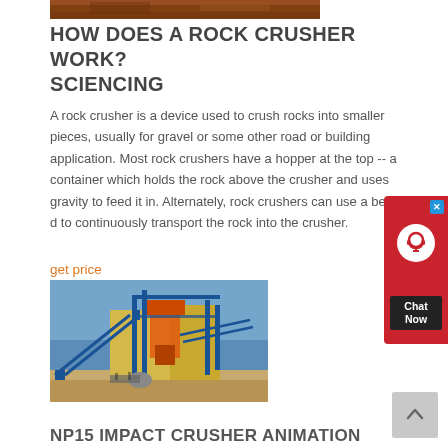[Figure (photo): Top portion of a rock crusher / construction site photo, showing reddish-brown dirt/soil]
HOW DOES A ROCK CRUSHER WORK? SCIENCING
A rock crusher is a device used to crush rocks into smaller pieces, usually for gravel or some other road or building application. Most rock crushers have a hopper at the top -- a container which holds the rock above the crusher and uses gravity to feed it in. Alternately, rock crushers can use a belt d to continuously transport the rock into the crusher.
get price
[Figure (photo): Industrial rock crusher / impact crusher installation with blue conveyor belts and orange machinery against yellow building and blue sky]
NP15 IMPACT CRUSHER ANIMATION